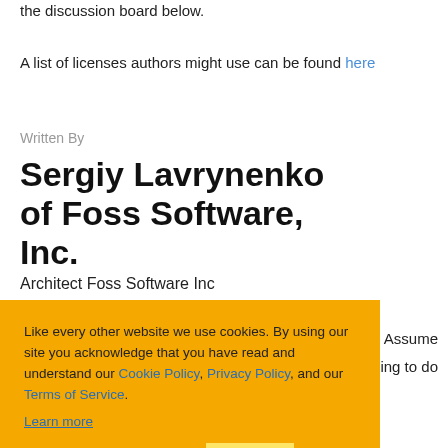the discussion board below.
A list of licenses authors might use can be found here
Written By
Sergiy Lavrynenko of Foss Software, Inc.
Architect Foss Software Inc
Like every other website we use cookies. By using our site you acknowledge that you have read and understand our Cookie Policy, Privacy Policy, and our Terms of Service. Learn more
Ask me later | Decline | Allow cookies
graphy. Assume
something to do
Comments and Discussions